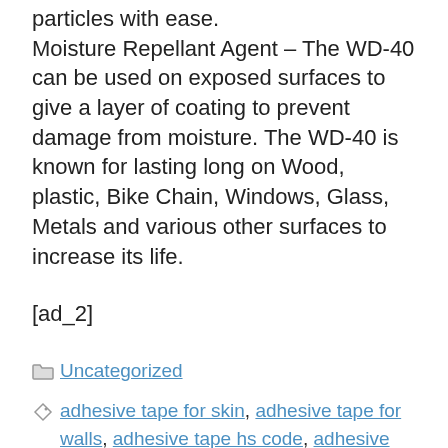particles with ease. Moisture Repellant Agent – The WD-40 can be used on exposed surfaces to give a layer of coating to prevent damage from moisture. The WD-40 is known for lasting long on Wood, plastic, Bike Chain, Windows, Glass, Metals and various other surfaces to increase its life.
[ad_2]
Uncategorized
adhesive tape for skin, adhesive tape for walls, adhesive tape hs code, adhesive tape medical, adhesive tape price, adhesive tape types, adhesive tape use, agent, Auto,